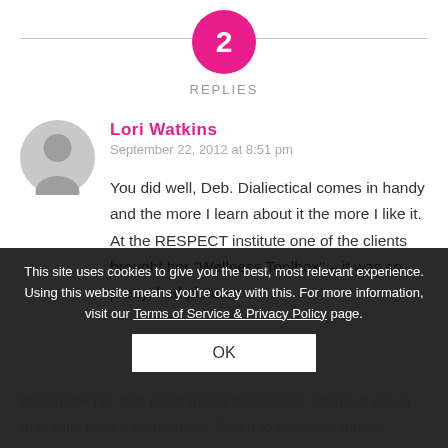2
REPLIES
[Figure (illustration): Gray circular avatar/user icon placeholder]
Lori Watkins
September 22, 2012 at 8:51 pm
You did well, Deb. Dialiectical comes in handy and the more I learn about it the more I like it. At the RESPECT institute one of the clients brought her "Wellness Toolbox" – it was so pretty, had pictures that made her feel good (good memories), strips of paper that said 'take a warm bath', 'listen to classical music', these were things to do when you get nervous and are panicking and need self soothing. She had a musical card she received from family members and played it and it showed how happy it made her feel every time she opened it. I
This site uses cookies to give you the best, most relevant experience. Using this website means you're okay with this. For more information, visit our Terms of Service & Privacy Policy page.
OK